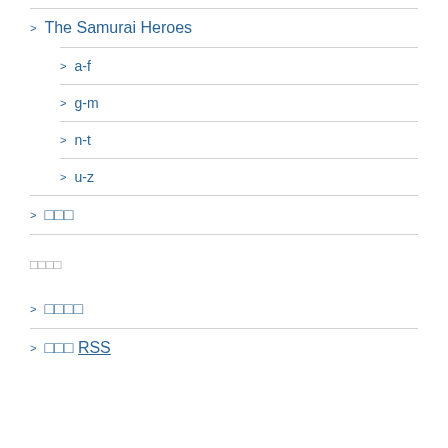> The Samurai Heroes
> a-f
> g-m
> n-t
> u-z
> □□□
□□□□
> □□□□
> □□□ RSS